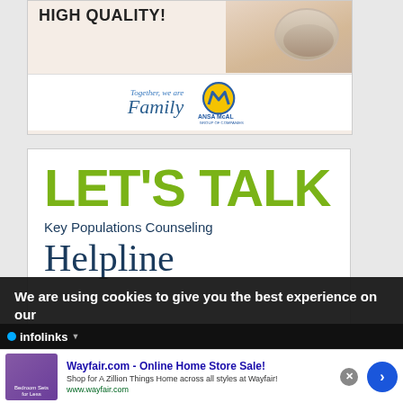[Figure (photo): Top advertisement banner with 'HIGH QUALITY!' text, cream/cosmetic product can image, and ANSA McAL Group of Companies branding with 'Together, we are Family' text]
[Figure (infographic): LET'S TALK - Key Populations Counseling Helpline advertisement with large green bold text and dark blue serif Helpline text]
We are using cookies to give you the best experience on our
[Figure (logo): infolinks logo bar]
[Figure (screenshot): Wayfair.com - Online Home Store Sale! Shop for A Zillion Things Home across all styles at Wayfair! www.wayfair.com - advertisement with bedroom image thumbnail and navigation arrow]